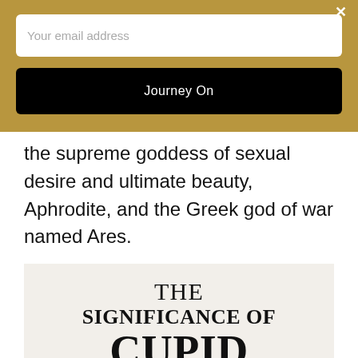[Figure (screenshot): Email signup overlay with gold/tan background. Contains an email input field with placeholder 'Your email address' and a black button labeled 'Journey On'. A white close (×) button is in the top right.]
the supreme goddess of sexual desire and ultimate beauty, Aphrodite, and the Greek god of war named Ares.
[Figure (illustration): Text-based graphic on a light beige background reading: THE SIGNIFICANCE OF CUPID IN GREEK MYTHOLOGY (partially visible)]